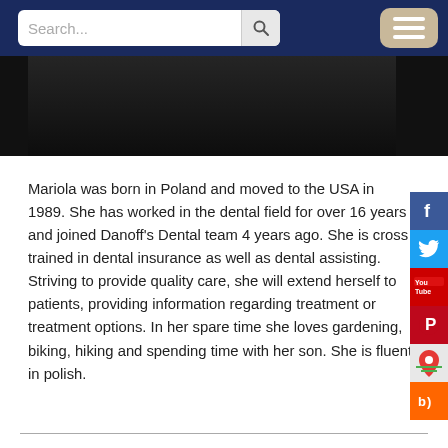[Figure (screenshot): Website header with navy blue navigation bar containing a search box with placeholder text 'Search...' and a magnifying glass icon, and a beige/tan hamburger menu button on the right.]
[Figure (photo): Dark photo strip showing a person in dark clothing against a dark background.]
Mariola was born in Poland and moved to the USA in 1989. She has worked in the dental field for over 16 years and joined Danoff's Dental team 4 years ago. She is cross trained in dental insurance as well as dental assisting. Striving to provide quality care, she will extend herself to patients, providing information regarding treatment or treatment options. In her spare time she loves gardening, biking, hiking and spending time with her son. She is fluent in polish.
[Figure (other): Vertical social media icon bar on the right side with Facebook, Twitter, YouTube, Pinterest, Google Maps, and Blog icons.]